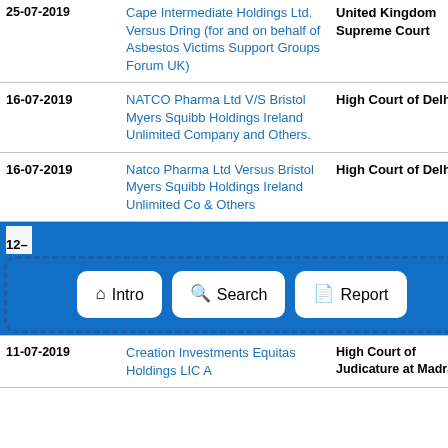| Date | Case | Court |
| --- | --- | --- |
| 25-07-2019 | Cape Intermediate Holdings Ltd. Versus Dring (for and on behalf of Asbestos Victims Support Groups Forum UK) | United Kingdom Supreme Court |
| 16-07-2019 | NATCO Pharma Ltd V/S Bristol Myers Squibb Holdings Ireland Unlimited Company and Others. | High Court of Delhi |
| 16-07-2019 | Natco Pharma Ltd Versus Bristol Myers Squibb Holdings Ireland Unlimited Co & Others | High Court of Delhi |
| 12-... | [navigation bar] |  |
| 11-07-2019 | Creation Investments Equitas Holdings LIC A | High Court of Judicature at Madras |